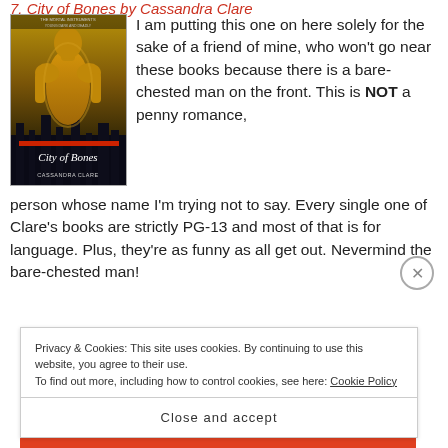7. City of Bones by Cassandra Clare
[Figure (illustration): Book cover of 'City of Bones' by Cassandra Clare, part of The Mortal Instruments series. Cover shows a bare-chested young man against a dark city background.]
I am putting this one on here solely for the sake of a friend of mine, who won't go near these books because there is a bare-chested man on the front. This is NOT a penny romance, person whose name I'm trying not to say. Every single one of Clare's books are strictly PG-13 and most of that is for language. Plus, they're as funny as all get out. Nevermind the bare-chested man!
Privacy & Cookies: This site uses cookies. By continuing to use this website, you agree to their use.
To find out more, including how to control cookies, see here: Cookie Policy
Close and accept